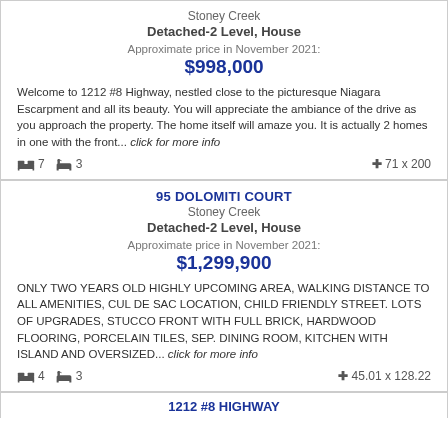Stoney Creek
Detached-2 Level, House
Approximate price in November 2021:
$998,000
Welcome to 1212 #8 Highway, nestled close to the picturesque Niagara Escarpment and all its beauty. You will appreciate the ambiance of the drive as you approach the property. The home itself will amaze you. It is actually 2 homes in one with the front... click for more info
🛏 7  🛁 3   ✛ 71 x 200
95 DOLOMITI COURT
Stoney Creek
Detached-2 Level, House
Approximate price in November 2021:
$1,299,900
ONLY TWO YEARS OLD HIGHLY UPCOMING AREA, WALKING DISTANCE TO ALL AMENITIES, CUL DE SAC LOCATION, CHILD FRIENDLY STREET. LOTS OF UPGRADES, STUCCO FRONT WITH FULL BRICK, HARDWOOD FLOORING, PORCELAIN TILES, SEP. DINING ROOM, KITCHEN WITH ISLAND AND OVERSIZED... click for more info
🛏 4  🛁 3   ✛ 45.01 x 128.22
1212 #8 HIGHWAY (partial, bottom of page)